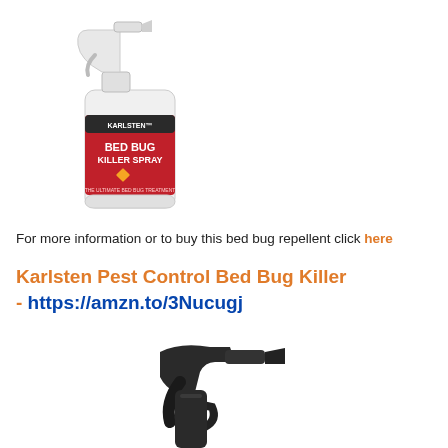[Figure (photo): Karlsten Bed Bug Killer Spray bottle - white spray bottle with red and black label]
For more information or to buy this bed bug repellent click here
Karlsten Pest Control Bed Bug Killer - https://amzn.to/3Nucugj
[Figure (photo): Black spray bottle trigger/pump top, partial view]